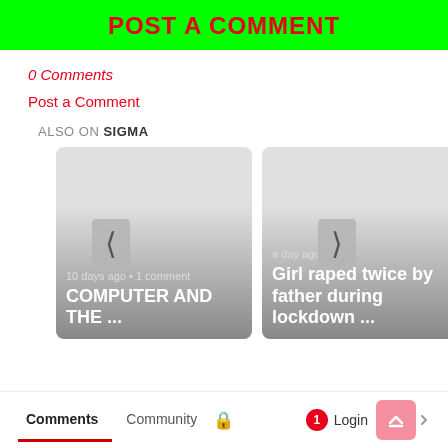POST A COMMENT
0 Comments
Post a Comment
ALSO ON SIGMA
[Figure (screenshot): Two article card thumbnails side by side. Left card: '10 days ago • 1 comment' and title 'COMPUTER AND THE ...' with left arrow nav. Right card: 'a day ago' and title 'Girl raped twice by father during lockdown ...' with right arrow nav.]
Comments  Community  🔒  1  Login